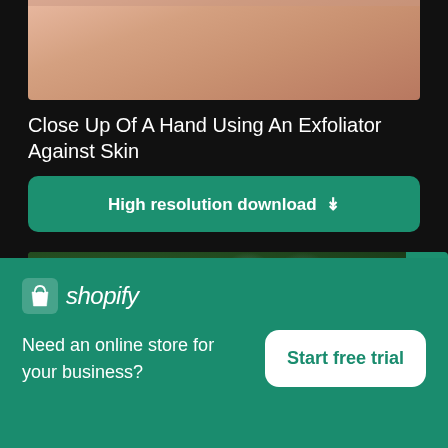[Figure (photo): Close up of a hand using an exfoliator against skin — partial top crop showing skin texture]
Close Up Of A Hand Using An Exfoliator Against Skin
High resolution download ↓
[Figure (photo): Blurred bokeh photo showing out-of-focus green background with circular light bokeh and blurred skin/hand in foreground]
[Figure (logo): Shopify logo with shopping bag icon and italic shopify wordmark]
Need an online store for your business?
Start free trial